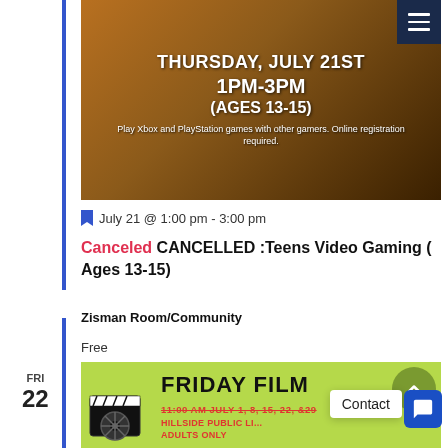[Figure (photo): Event banner for Teens Video Gaming with dark brownish-orange background showing teens playing games. Text overlay reads: THURSDAY, JULY 21ST / 1PM-3PM / (AGES 13-15) / Play Xbox and PlayStation games with other gamers. Online registration required.]
July 21 @ 1:00 pm - 3:00 pm
Canceled CANCELLED :Teens Video Gaming ( Ages 13-15)
Zisman Room/Community
Free
[Figure (photo): Green background event flyer for Friday Film. Text: FRIDAY FILM / 11:00 AM JULY 1, 8, 15, 22, &29 / HILLSIDE PUBLIC LI... / ADULTS ONLY. Film reel and popcorn imagery visible.]